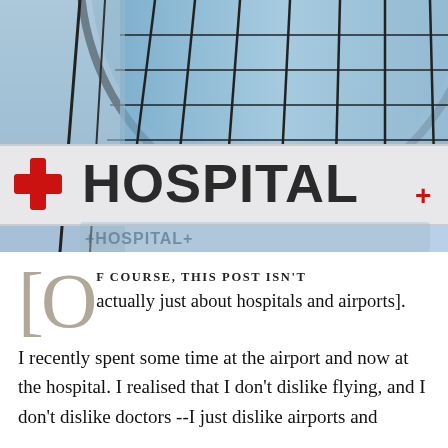[Figure (photo): Photograph of a hospital building exterior with large glass curved facade and a prominent sign reading '+ HOSPITAL+' with a red cross symbol on a white sign board.]
[Of course, this post isn't actually just about hospitals and airports]. I recently spent some time at the airport and now at the hospital. I realised that I don't dislike flying, and I don't dislike doctors --I just dislike airports and